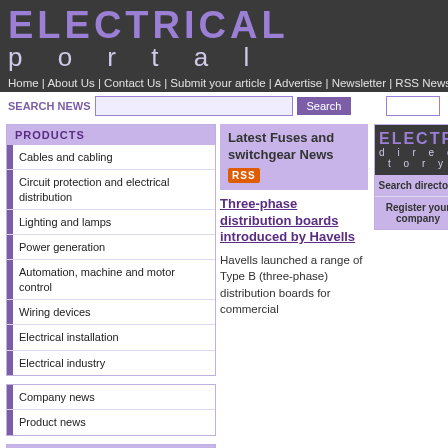ELECTRICAL portal
Home | About Us | Contact Us | Submit your article | Advertise | Newsletter | RSS Newsfeed | SEARCH
SEARCH NEWS [search input] Search
PRODUCTS
Cables and cabling
Circuit protection and electrical distribution
Lighting and lamps
Power generation
Automation, machine and motor control
Wiring devices
Electrical installation
Electrical industry
Company news
Product news
APPLICATIONS
Latest Fuses and switchgear News RSS
Three-phase distribution boards introduced by Havells
Havells launched a range of Type B (three-phase) distribution boards for commercial
[Figure (logo): ELECTRICAL directory logo with purple text on dark background, Search directory and Register your company buttons]